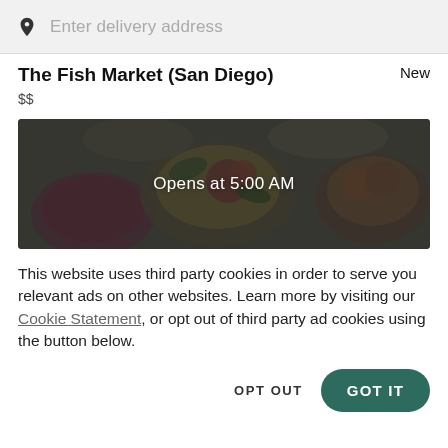Enter delivery address
The Fish Market (San Diego)
New
$$
[Figure (photo): Overhead shot of various food dishes including colorful salads, bowls with grains and vegetables. A dark overlay covers the image with white text reading 'Opens at 5:00 AM'.]
This website uses third party cookies in order to serve you relevant ads on other websites. Learn more by visiting our Cookie Statement, or opt out of third party ad cookies using the button below.
OPT OUT
GOT IT